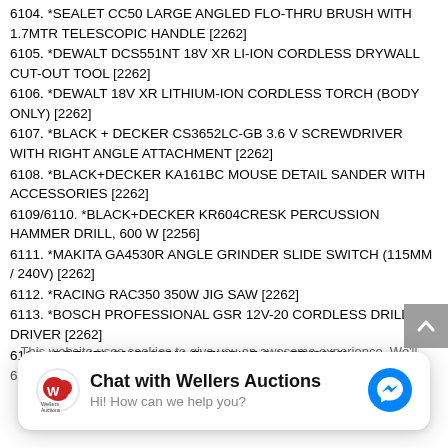6104. *SEALET CC50 LARGE ANGLED FLO-THRU BRUSH WITH 1.7MTR TELESCOPIC HANDLE [2262]
6105. *DEWALT DCS551NT 18V XR LI-ION CORDLESS DRYWALL CUT-OUT TOOL [2262]
6106. *DEWALT 18V XR LITHIUM-ION CORDLESS TORCH (BODY ONLY) [2262]
6107. *BLACK + DECKER CS3652LC-GB 3.6 V SCREWDRIVER WITH RIGHT ANGLE ATTACHMENT [2262]
6108. *BLACK+DECKER KA161BC MOUSE DETAIL SANDER WITH ACCESSORIES [2262]
6109/6110. *BLACK+DECKER KR604CRESK PERCUSSION HAMMER DRILL, 600 W [2256]
6111. *MAKITA GA4530R ANGLE GRINDER SLIDE SWITCH (115MM / 240V) [2262]
6112. *RACING RAC350 350W JIG SAW [2262]
6113. *BOSCH PROFESSIONAL GSR 12V-20 CORDLESS DRILL DRIVER [2262]
6114. *DREMEL 26150225JA FLEXIBILE SHAFT [2262]
6115. *SILVERLINE S33686 C-CLAMP LIGHT DUTY [2262]
This website uses cookies to give you an awesome experience. We'll...
[Figure (screenshot): Chat widget overlay from Wellers Auctions showing logo, title 'Chat with Wellers Auctions', subtitle 'Hi! How can we help you?' and a Facebook Messenger icon button.]